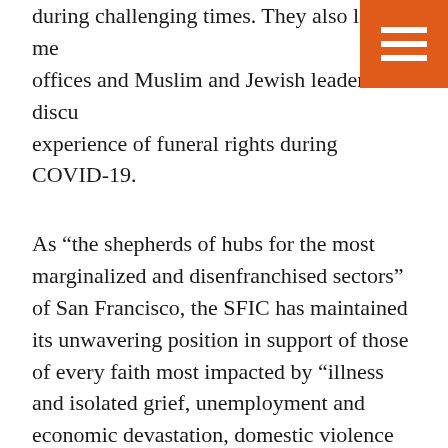during challenging times. They also loop in me offices and Muslim and Jewish leaders to discu experience of funeral rights during COVID-19.
As “the shepherds of hubs for the most marginalized and disenfranchised sectors” of San Francisco, the SFIC has maintained its unwavering position in support of those of every faith most impacted by “illness and isolated grief, unemployment and economic devastation, domestic violence abuse, and mental health despair,” and will continue to serve as a convener (virtually for now) and advocate” for San Francisco’s most vulnerable residents. To expand this effort’s reach, Michael and his team have facilitated